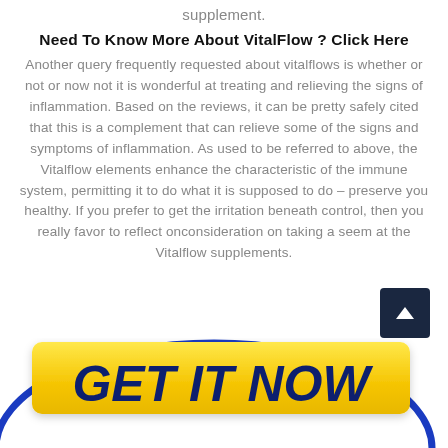supplement.
Need To Know More About VitalFlow ? Click Here
Another query frequently requested about vitalflows is whether or not or now not it is wonderful at treating and relieving the signs of inflammation. Based on the reviews, it can be pretty safely cited that this is a complement that can relieve some of the signs and symptoms of inflammation. As used to be referred to above, the Vitalflow elements enhance the characteristic of the immune system, permitting it to do what it is supposed to do – preserve you healthy. If you prefer to get the irritation beneath control, then you really favor to reflect onconsideration on taking a seem at the Vitalflow supplements.
[Figure (other): Yellow GET IT NOW button with dark blue text on a blue oval/ellipse background, used as a call-to-action button]